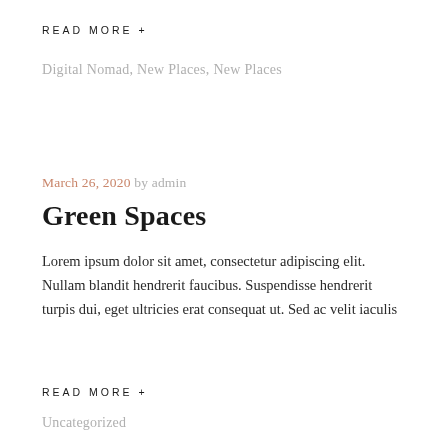READ MORE +
Digital Nomad, New Places, New Places
March 26, 2020  by admin
Green Spaces
Lorem ipsum dolor sit amet, consectetur adipiscing elit. Nullam blandit hendrerit faucibus. Suspendisse hendrerit turpis dui, eget ultricies erat consequat ut. Sed ac velit iaculis
READ MORE +
Uncategorized